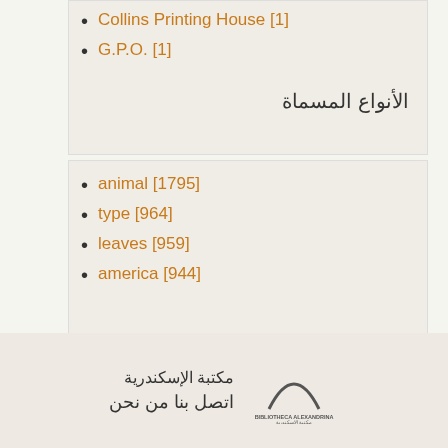Collins Printing House [1]
G.P.O. [1]
الأنواع المسماة
animal [1795]
type [964]
leaves [959]
america [944]
مكتبة الإسكندرية — اتصل بنا من نحن